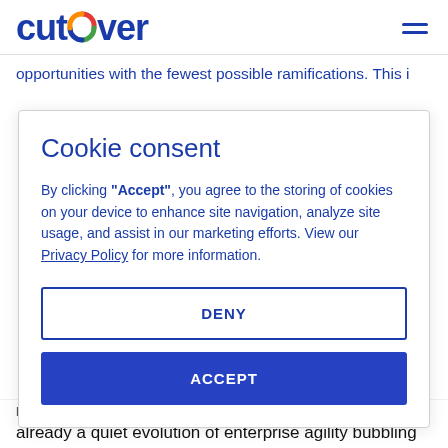cutover
opportunities with the fewest possible ramifications. This i
Cookie consent
By clicking "Accept", you agree to the storing of cookies on your device to enhance site navigation, analyze site usage, and assist in our marketing efforts. View our Privacy Policy for more information.
DENY
ACCEPT
already a quiet evolution of enterprise agility bubbling